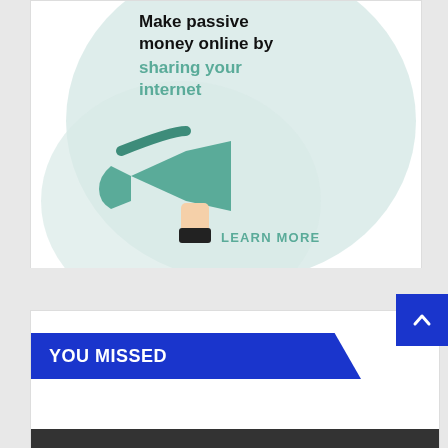[Figure (illustration): Advertisement card with light teal bubble background, megaphone illustration holding by a hand, bold headline 'Make passive money online by sharing your internet' and 'LEARN MORE' call to action link]
YOU MISSED
[Figure (other): Dark bar at bottom of page, partially visible]